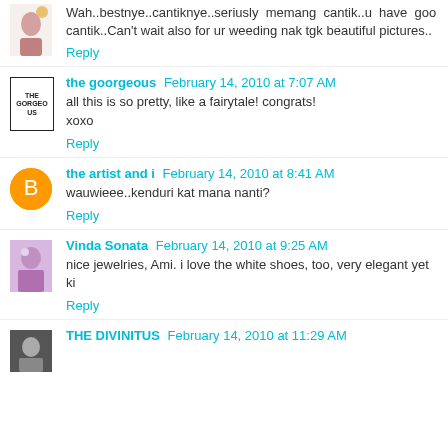Wah..bestnye..cantiknye..seriusly memang cantik..u have goo cantik..Can't wait also for ur weeding nak tgk beautiful pictures..
Reply
the goorgeous  February 14, 2010 at 7:07 AM
all this is so pretty, like a fairytale! congrats!
xoxo
Reply
the artist and i  February 14, 2010 at 8:41 AM
wauwieee..kenduri kat mana nanti?
Reply
Vinda Sonata  February 14, 2010 at 9:25 AM
nice jewelries, Ami. i love the white shoes, too, very elegant yet ki
Reply
THE DIVINITUS  February 14, 2010 at 11:29 AM